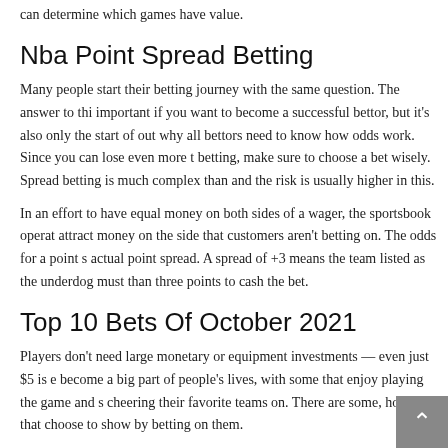can determine which games have value.
Nba Point Spread Betting
Many people start their betting journey with the same question. The answer to this is important if you want to become a successful bettor, but it's also only the start of out why all bettors need to know how odds work. Since you can lose even more than betting, make sure to choose a bet wisely. Spread betting is much complex than and the risk is usually higher in this.
In an effort to have equal money on both sides of a wager, the sportsbook operat attract money on the side that customers aren't betting on. The odds for a point s actual point spread. A spread of +3 means the team listed as the underdog must than three points to cash the bet.
Top 10 Bets Of October 2021
Players don't need large monetary or equipment investments — even just $5 is e become a big part of people's lives, with some that enjoy playing the game and s cheering their favorite teams on. There are some, however, that choose to show by betting on them.